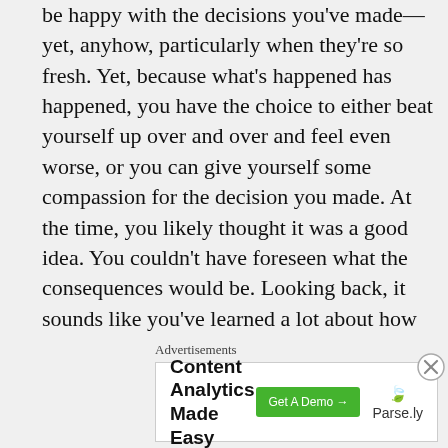be happy with the decisions you've made—yet, anyhow, particularly when they're so fresh. Yet, because what's happened has happened, you have the choice to either beat yourself up over and over and feel even worse, or you can give yourself some compassion for the decision you made. At the time, you likely thought it was a good idea. You couldn't have foreseen what the consequences would be. Looking back, it sounds like you've learned a lot about how you might do things differently in the future. There's no rulebook for this stuff...we trudge through life and act, sometimes
Advertisements
[Figure (other): Advertisement banner for Parse.ly Content Analytics with 'Get A Demo' button]